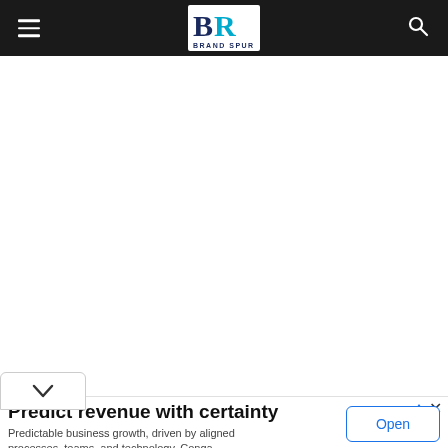Brand Spur — navigation bar with hamburger menu and search icon
[Figure (logo): Brand Spur logo: stylized BR letters with teal accent, text BRAND SPUR below]
Predict revenue with certainty
Predictable business growth, driven by aligned processes, teams, and technology. Conga
Open